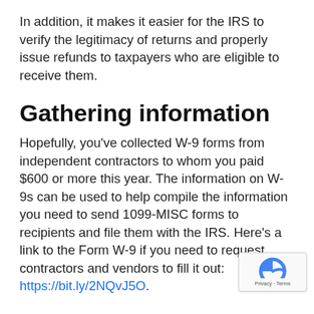In addition, it makes it easier for the IRS to verify the legitimacy of returns and properly issue refunds to taxpayers who are eligible to receive them.
Gathering information
Hopefully, you've collected W-9 forms from independent contractors to whom you paid $600 or more this year. The information on W-9s can be used to help compile the information you need to send 1099-MISC forms to recipients and file them with the IRS. Here's a link to the Form W-9 if you need to request contractors and vendors to fill it out: https://bit.ly/2NQvJ5O.
Form changes coming